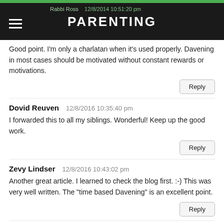PARENTING
Good point. I'm only a charlatan when it's used properly. Davening in most cases should be motivated without constant rewards or motivations.
Reply
Dovid Reuven   12/8/2016 10:35:40 pm
I forwarded this to all my siblings. Wonderful! Keep up the good work.
Reply
Zevy Lindser   12/8/2016 10:43:02 pm
Another great article. I learned to check the blog first. :-) This was very well written. The "time based Davening" is an excellent point.
Reply
Rabbi Ross   12/8/2014 10:51:20 pm